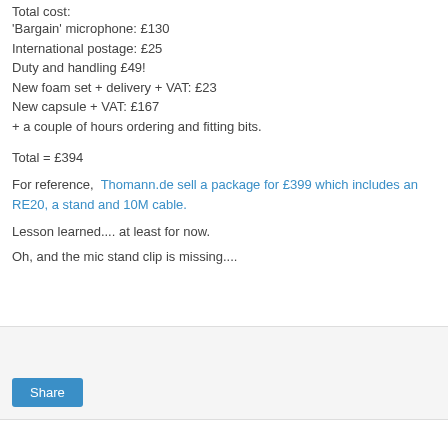Total cost:
'Bargain' microphone: £130
International postage: £25
Duty and handling £49!
New foam set + delivery + VAT: £23
New capsule + VAT: £167
+ a couple of hours ordering and fitting bits.
Total = £394
For reference,  Thomann.de sell a package for £399 which includes an RE20, a stand and 10M cable.
Lesson learned.... at least for now.
Oh, and the mic stand clip is missing....